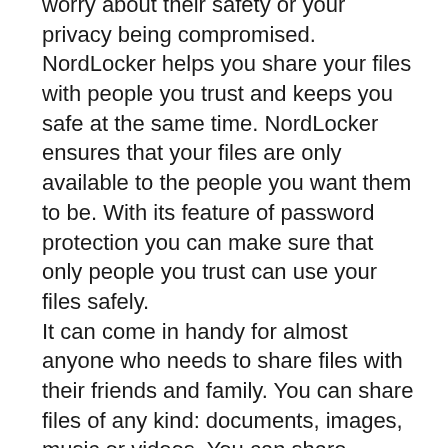worry about their safety or your privacy being compromised.
NordLocker helps you share your files with people you trust and keeps you safe at the same time. NordLocker ensures that your files are only available to the people you want them to be. With its feature of password protection you can make sure that only people you trust can use your files safely.
It can come in handy for almost anyone who needs to share files with their friends and family. You can share files of any kind: documents, images, music or videos. You can share personal information and images of yourself and people you trust will not have access to your private data.
Upload files of any type
There are no limitations on the type of files that can be shared with NordLocker. You can upload files that are encrypted,